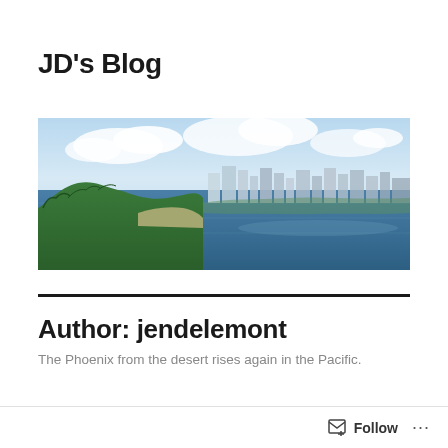JD's Blog
[Figure (photo): Aerial panoramic view of a coastal city with green forested cliffs, beaches, blue ocean water, and city buildings under a cloudy sky — appears to be Guam or a similar Pacific island location.]
Author: jendelemont
The Phoenix from the desert rises again in the Pacific.
W…oming to Count T…
Follow …